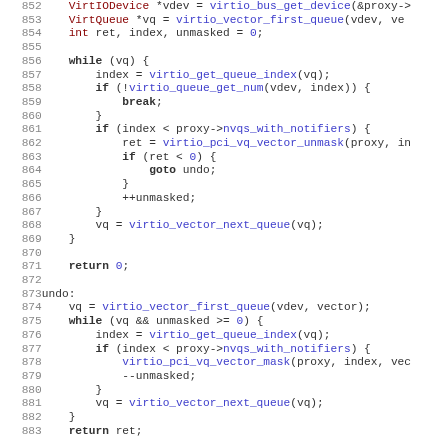[Figure (screenshot): Source code snippet showing C code for a VirtIO PCI driver function, lines 852-883, with syntax highlighting: keywords in bold black, function names in blue, numbers in blue, type keywords in red.]